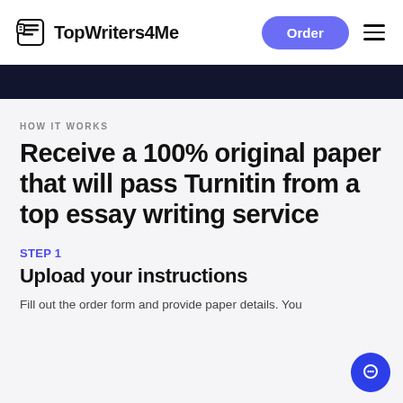TopWriters4Me | Order | menu
HOW IT WORKS
Receive a 100% original paper that will pass Turnitin from a top essay writing service
STEP 1
Upload your instructions
Fill out the order form and provide paper details. You